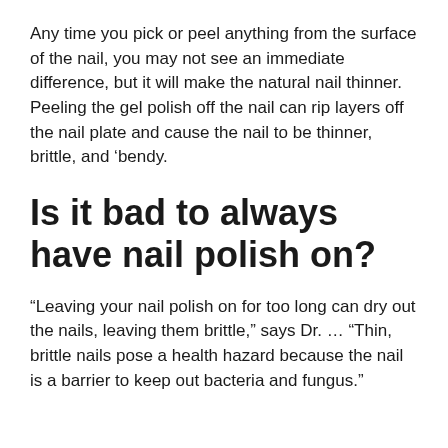Any time you pick or peel anything from the surface of the nail, you may not see an immediate difference, but it will make the natural nail thinner. Peeling the gel polish off the nail can rip layers off the nail plate and cause the nail to be thinner, brittle, and ‘bendy.
Is it bad to always have nail polish on?
“Leaving your nail polish on for too long can dry out the nails, leaving them brittle,” says Dr. ... “Thin, brittle nails pose a health hazard because the nail is a barrier to keep out bacteria and fungus.”